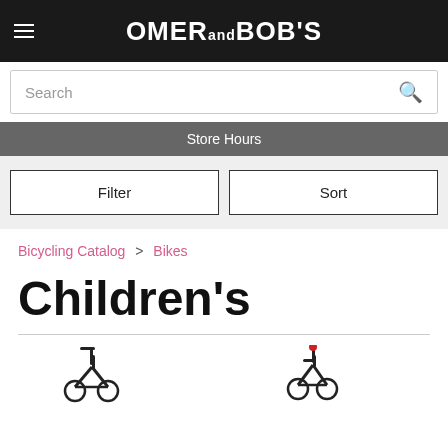OMER and BOB'S
Search
Store Hours
Filter
Sort
Bicycling Catalog > Bikes
Children's
[Figure (photo): Two partial bicycle product thumbnails at the bottom of the page]